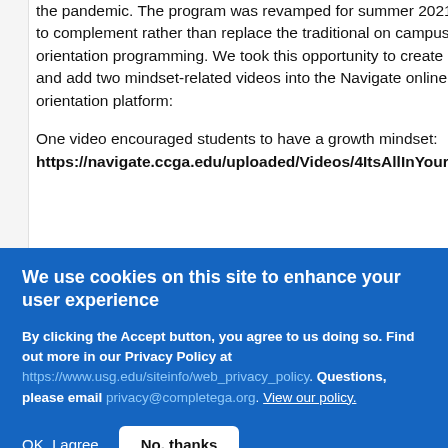the pandemic. The program was revamped for summer 2021 to complement rather than replace the traditional on campus orientation programming. We took this opportunity to create and add two mindset-related videos into the Navigate online orientation platform:
One video encouraged students to have a growth mindset: https://navigate.ccga.edu/uploaded/Videos/4ItsAllInYourHead.mp4
We use cookies on this site to enhance your user experience
By clicking the Accept button, you agree to us doing so. Find out more in our Privacy Policy at https://www.usg.edu/siteinfo/web_privacy_policy. Questions, please email privacy@completega.org. View our policy.
OK, I agree | No, thanks